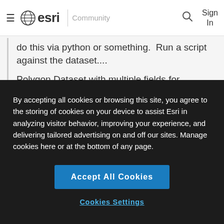≡ esri | Community  🔍  Sign In
do this via python or something.  Run a script against the dataset....
Polygon Dataset with multiple fields for individual species
By accepting all cookies or browsing this site, you agree to the storing of cookies on your device to assist Esri in analyzing visitor behavior, improving your experience, and delivering tailored advertising on and off our sites. Manage cookies here or at the bottom of any page.
Accept All Cookies
Cookies Settings